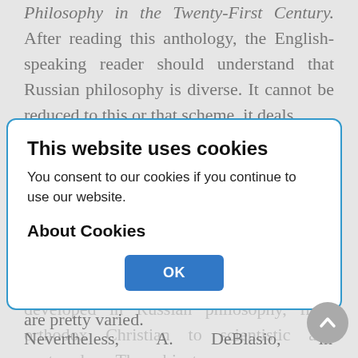Philosophy in the Twenty-First Century. After reading this anthology, the English-speaking reader should understand that Russian philosophy is diverse. It cannot be reduced to this or that scheme, it deals with the most critical issues of our time, and that Russian philosophy cannot...
[Figure (screenshot): Cookie consent modal dialog with title 'This website uses cookies', body text 'You consent to our cookies if you continue to use our website.', section header 'About Cookies', and an OK button.]
matter and format of philosophical pursuits are pretty varied.
Nevertheless, A. DeBlasio, in characterizing the articles included in the anthology